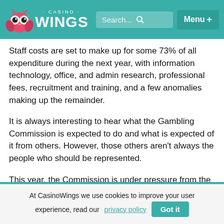CASINO WINGS — Search... Menu
Staff costs are set to make up for some 73% of all expenditure during the next year, with information technology, office, and admin research, professional fees, recruitment and training, and a few anomalies making up the remainder.
It is always interesting to hear what the Gambling Commission is expected to do and what is expected of it from others. However, those others aren't always the people who should be represented.
This year, the Commission is under pressure from the government to add very restrictive and intrusive
At CasinoWings we use cookies to improve your user experience, read our privacy policy   Got it